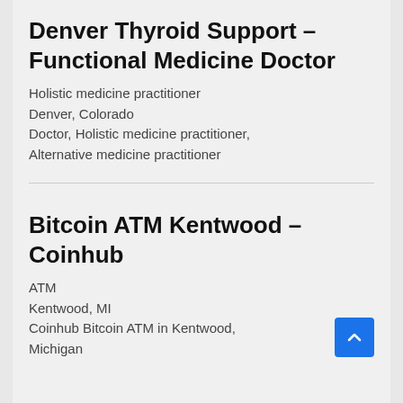Denver Thyroid Support – Functional Medicine Doctor
Holistic medicine practitioner
Denver, Colorado
Doctor, Holistic medicine practitioner, Alternative medicine practitioner
Bitcoin ATM Kentwood – Coinhub
ATM
Kentwood, MI
Coinhub Bitcoin ATM in Kentwood, Michigan